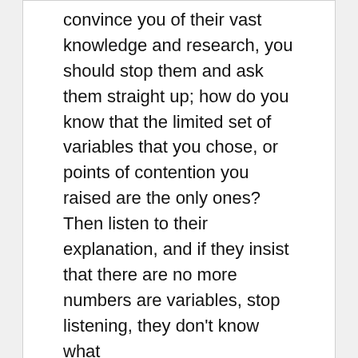convince you of their vast knowledge and research, you should stop them and ask them straight up; how do you know that the limited set of variables that you chose, or points of contention you raised are the only ones? Then listen to their explanation, and if they insist that there are no more numbers are variables, stop listening, they don't know what
Category :education
[Figure (screenshot): Image placeholder for article about Studying For The Avaya 71200X Certification Exams]
education
Studying For The Avaya